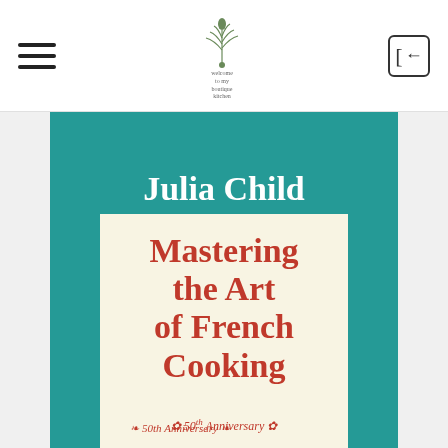[Figure (illustration): Screenshot of a book detail page showing the cover of 'Mastering the Art of French Cooking' by Julia Child, 50th Anniversary edition. The cover has a teal background with white fleur-de-lis pattern, the author name 'Julia Child' in white serif text, and a cream inner panel with red serif title text 'Mastering the Art of French Cooking' and '50th Anniversary' in red italic script. Top navigation bar shows hamburger menu, a decorative logo, and a back arrow button.]